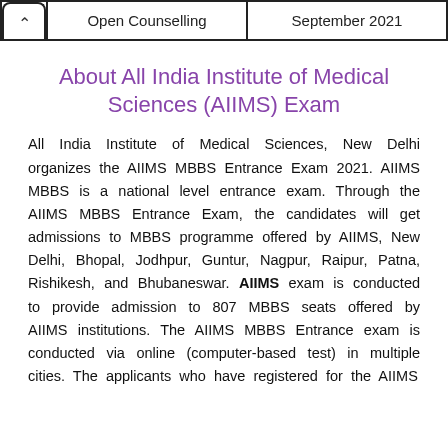Open Counselling | September 2021
About All India Institute of Medical Sciences (AIIMS) Exam
All India Institute of Medical Sciences, New Delhi organizes the AIIMS MBBS Entrance Exam 2021. AIIMS MBBS is a national level entrance exam. Through the AIIMS MBBS Entrance Exam, the candidates will get admissions to MBBS programme offered by AIIMS, New Delhi, Bhopal, Jodhpur, Guntur, Nagpur, Raipur, Patna, Rishikesh, and Bhubaneswar. AIIMS exam is conducted to provide admission to 807 MBBS seats offered by AIIMS institutions. The AIIMS MBBS Entrance exam is conducted via online (computer-based test) in multiple cities. The applicants who have registered for the AIIMS